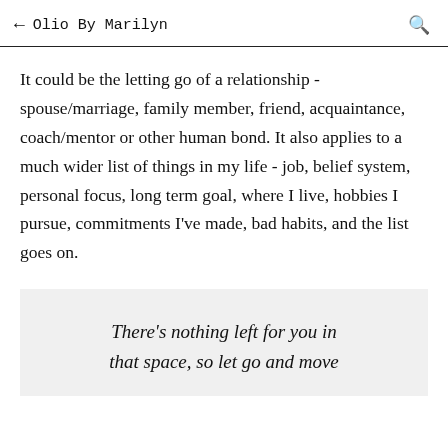← Olio By Marilyn
It could be the letting go of a relationship - spouse/marriage, family member, friend, acquaintance, coach/mentor or other human bond. It also applies to a much wider list of things in my life - job, belief system, personal focus, long term goal, where I live, hobbies I pursue, commitments I've made, bad habits, and the list goes on.
There's nothing left for you in that space, so let go and move